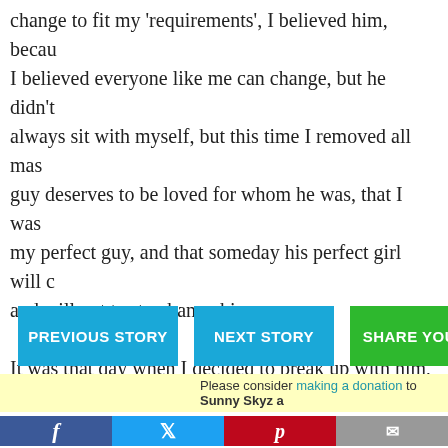change to fit my 'requirements', I believed him, because I believed everyone like me can change, but he didn't always sit with myself, but this time I removed all masks, guy deserves to be loved for whom he was, that I was not my perfect guy, and that someday his perfect girl will come and will not try to change him…

It was that day when I decided to break up with him, him, to love him for who he was not for who she wanted was wise thing for me to change him….
PREVIOUS STORY
NEXT STORY
SHARE YOUR
Please consider making a donation to Sunny Skyz a
f  Twitter  p  Email